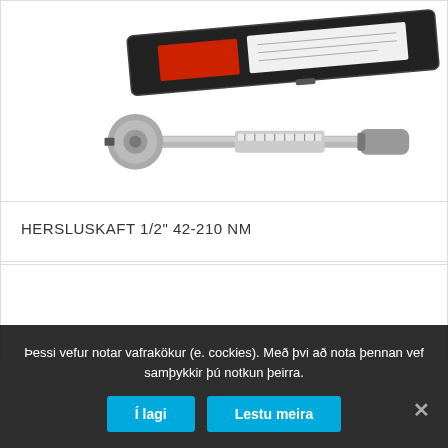[Figure (photo): A torque wrench tool with a black carrying case. The wrench is silver/chrome colored, elongated, with a ratchet head at one end and an adjustment handle at the other. The black rectangular case is shown partially open above the wrench.]
HERSLUSKAFT 1/2" 42-210 NM
Þessi vefur notar vafrakökur (e. cockies). Með þvi að nota þennan vef samþykkir þú notkun þeirra.
Í lagi   Lestu meira